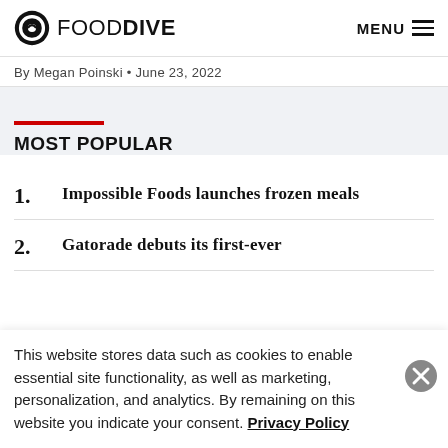FOOD DIVE | MENU
By Megan Poinski • June 23, 2022
MOST POPULAR
1. Impossible Foods launches frozen meals
2. Gatorade debuts its first-ever
This website stores data such as cookies to enable essential site functionality, as well as marketing, personalization, and analytics. By remaining on this website you indicate your consent. Privacy Policy